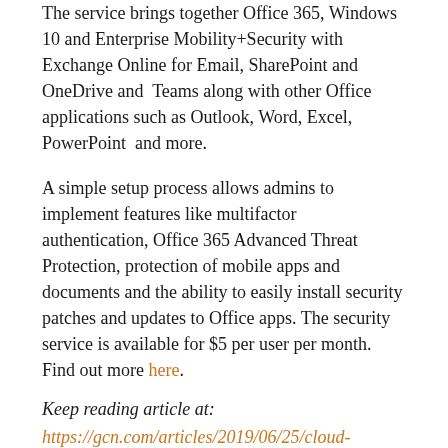The service brings together Office 365, Windows 10 and Enterprise Mobility+Security with Exchange Online for Email, SharePoint and OneDrive and  Teams along with other Office applications such as Outlook, Word, Excel, PowerPoint  and more.
A simple setup process allows admins to implement features like multifactor authentication, Office 365 Advanced Threat Protection, protection of mobile apps and documents and the ability to easily install security patches and updates to Office apps. The security service is available for $5 per user per month. Find out more here.
Keep reading article at:
https://gcn.com/articles/2019/06/25/cloud-briefs.aspx
Filed Under: Government Contracting News · Tagged With: Amazon Web Services, cloud smart strategy, POTUS, FedRAMP, Microsoft, multifactor authentication...